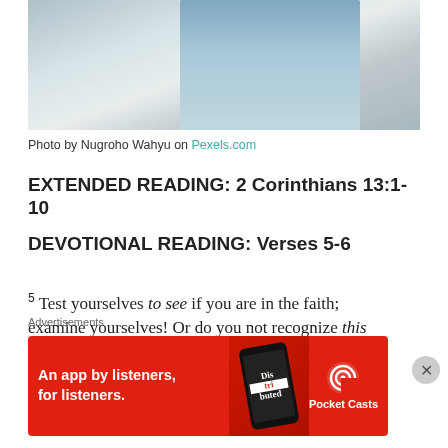[Figure (photo): Partial photo of a person in a light blue shirt standing in a kitchen/white interior, cropped at the bottom]
Photo by Nugroho Wahyu on Pexels.com
EXTENDED READING: 2 Corinthians 13:1-10
DEVOTIONAL READING: Verses 5-6
5 Test yourselves to see if you are in the faith; examine yourselves! Or do you not recognize this about yourselves, that Jesus Christ is...
Advertisements
[Figure (other): Red advertisement banner for Pocket Casts app — 'An app by listeners, for listeners.']